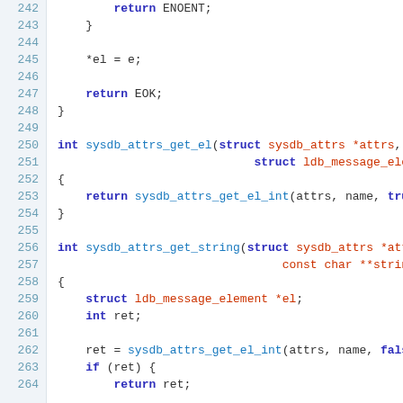[Figure (screenshot): Source code listing showing C code for sysdb_attrs_get_el and sysdb_attrs_get_string functions, lines 242-264, with syntax highlighting: keywords in bold blue, types/identifiers in red, function calls in blue.]